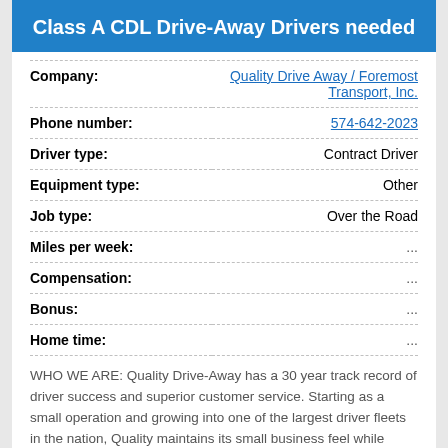Class A CDL Drive-Away Drivers needed
| Field | Value |
| --- | --- |
| Company: | Quality Drive Away / Foremost Transport, Inc. |
| Phone number: | 574-642-2023 |
| Driver type: | Contract Driver |
| Equipment type: | Other |
| Job type: | Over the Road |
| Miles per week: | ... |
| Compensation: | ... |
| Bonus: | ... |
| Home time: | ... |
WHO WE ARE: Quality Drive-Away has a 30 year track record of driver success and superior customer service. Starting as a small operation and growing into one of the largest driver fleets in the nation, Quality maintains its small business feel while continuously adjusting to the needs of our customers in an ever changing industry. We strive to serv...